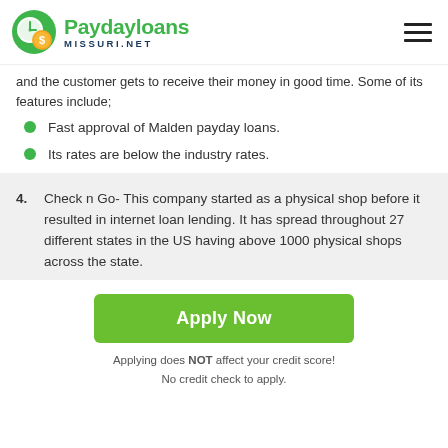Paydayloans MISSURI.NET
and the customer gets to receive their money in good time. Some of its features include;
Fast approval of Malden payday loans.
Its rates are below the industry rates.
4. Check n Go- This company started as a physical shop before it resulted in internet loan lending. It has spread throughout 27 different states in the US having above 1000 physical shops across the state.
Apply Now
Applying does NOT affect your credit score!
No credit check to apply.